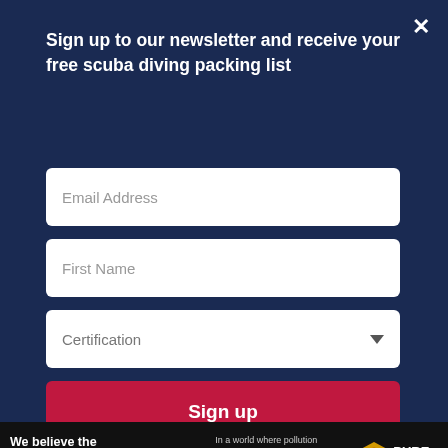Sign up to our newsletter and receive your free scuba diving packing list
[Figure (screenshot): Email Address input field (white rounded rectangle)]
[Figure (screenshot): First Name input field (white rounded rectangle)]
[Figure (screenshot): Certification dropdown select field (white rounded rectangle with arrow)]
[Figure (screenshot): Sign up button (red/crimson rounded rectangle)]
to Amazon.com. Bowraven Limited also participates in affiliate programs with MaxBounty, Clickbank, Dive The World, Liveaboard.com, AWIN and other sites. Bowraven Limited
[Figure (screenshot): Advertisement banner: 'We believe the global pollution crisis can be solved.' with Pure Earth logo and JOIN US call to action]